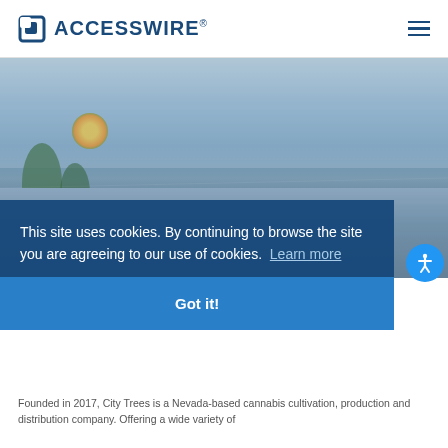ACCESSWIRE®
[Figure (photo): Interior of an Oasis cannabis dispensary showing a reception counter with glass panels, plants, and modern lighting]
This site uses cookies. By continuing to browse the site you are agreeing to our use of cookies.  Learn more
Got it!
Founded in 2017, City Trees is a Nevada-based cannabis cultivation, production and distribution company. Offering a wide variety of